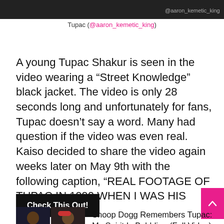[Figure (photo): Top cropped image showing partial text '@aaron_kemetic_king' on a dark background]
Tupac (@aaron_kemetic_king)
A young Tupac Shakur is seen in the video wearing a “Street Knowledge” black jacket. The video is only 28 seconds long and unfortunately for fans, Tupac doesn’t say a word. Many had question if the video was even real. Kaiso decided to share the video again weeks later on May 9th with the following caption, “REAL FOOTAGE OF TUPAC IN 1990 WHEN I WAS HIS BODYGUARD.”
[Figure (screenshot): Black button with white bold text reading 'Check This Out!']
[Figure (photo): Two thumbnail photos side by side showing Tupac and Snoop Dogg]
Snoop Dogg Remembers Tupac: My Spirit Is Bubbling (Full Video)